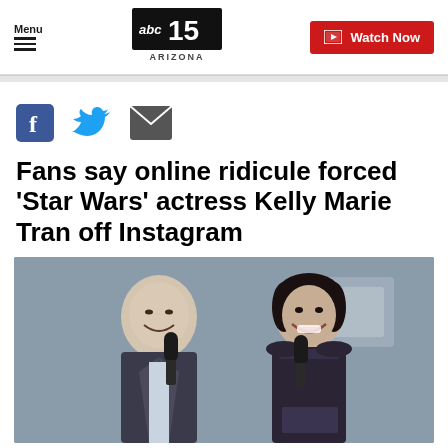Menu | abc15 ARIZONA | Watch Now
[Figure (logo): abc15 ARIZONA logo - black square with white 'abc' text and bold '15', 'ARIZONA' below]
[Figure (infographic): Social sharing icons: Facebook (f), Twitter (bird), Email (envelope)]
Fans say online ridicule forced 'Star Wars' actress Kelly Marie Tran off Instagram
[Figure (photo): Two people holding microphones on stage: a heavyset man in a dark suit jacket on the left, and a smiling Asian woman in a dark patterned dress on the right. Stage/event background visible.]